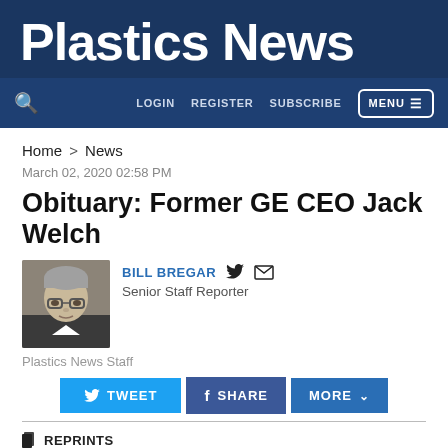Plastics News
LOGIN  REGISTER  SUBSCRIBE  MENU
Home > News
March 02, 2020 02:58 PM
Obituary: Former GE CEO Jack Welch
[Figure (photo): Headshot photo of Bill Bregar, Senior Staff Reporter, with gray hair and glasses]
BILL BREGAR  Senior Staff Reporter
Plastics News Staff
TWEET  SHARE  MORE
REPRINTS